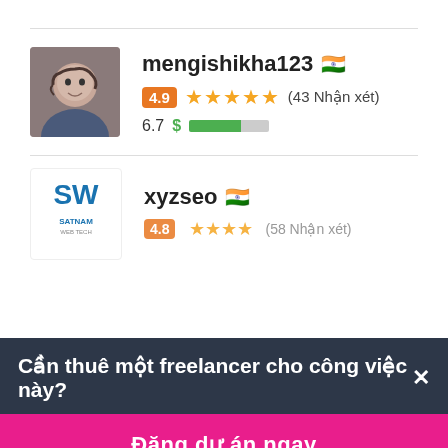[Figure (screenshot): Freelancer profile card for mengishikha123 with Indian flag, rating 4.9, 43 reviews, and score bar]
[Figure (screenshot): Partial freelancer profile card for xyzseo with Indian flag and rating row (partially visible)]
Cần thuê một freelancer cho công việc này? ×
Đăng dự án ngay